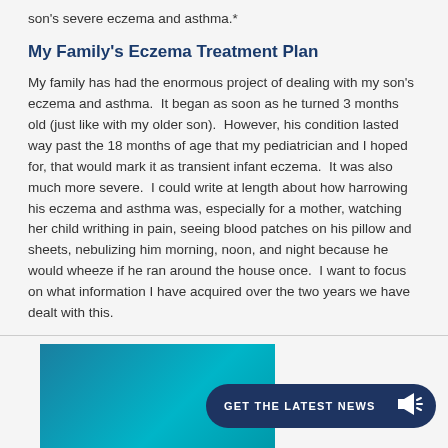son's severe eczema and asthma.*
My Family's Eczema Treatment Plan
My family has had the enormous project of dealing with my son's eczema and asthma.  It began as soon as he turned 3 months old (just like with my older son).  However, his condition lasted way past the 18 months of age that my pediatrician and I hoped for, that would mark it as transient infant eczema.  It was also much more severe.  I could write at length about how harrowing his eczema and asthma was, especially for a mother, watching her child writhing in pain, seeing blood patches on his pillow and sheets, nebulizing him morning, noon, and night because he would wheeze if he ran around the house once.  I want to focus on what information I have acquired over the two years we have dealt with this.
[Figure (other): Teal/blue gradient banner box with a dark navy rounded button labeled GET THE LATEST NEWS with a megaphone icon]